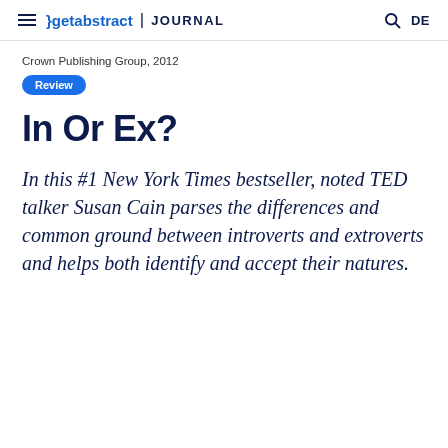getabstract JOURNAL DE
Crown Publishing Group, 2012
Review
In Or Ex?
In this #1 New York Times bestseller, noted TED talker Susan Cain parses the differences and common ground between introverts and extroverts and helps both identify and accept their natures.